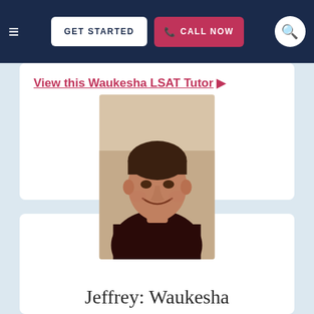GET STARTED  CALL NOW
View this Waukesha LSAT Tutor ▶
[Figure (photo): Portrait photo of Jeffrey, a male LSAT tutor from Waukesha, smiling, wearing a dark shirt, with short hair]
Jeffrey: Waukesha